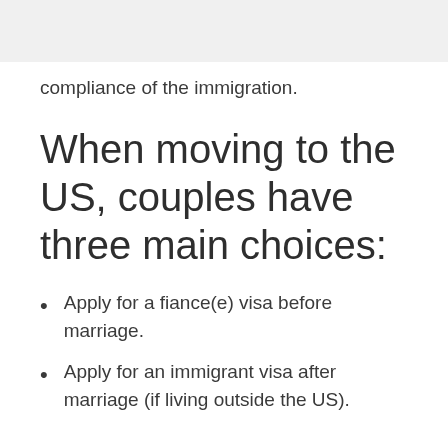compliance of the immigration.
When moving to the US, couples have three main choices:
Apply for a fiance(e) visa before marriage.
Apply for an immigrant visa after marriage (if living outside the US).